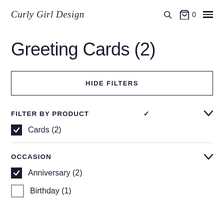Curly Girl Design
Greeting Cards (2)
HIDE FILTERS
FILTER BY PRODUCT
Cards (2)
OCCASION
Anniversary (2)
Birthday (1)